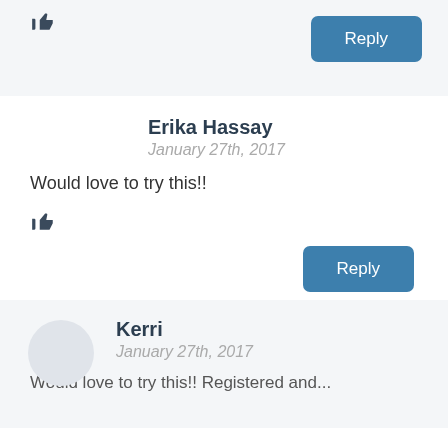[Figure (other): Thumbs up icon at top of page]
Reply
Erika Hassay
January 27th, 2017
Would love to try this!!
[Figure (other): Thumbs up icon below comment text]
Reply
Kerri
January 27th, 2017
Would love to try this!! Registered and...